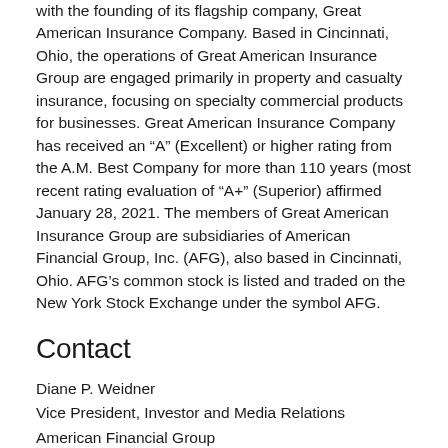with the founding of its flagship company, Great American Insurance Company. Based in Cincinnati, Ohio, the operations of Great American Insurance Group are engaged primarily in property and casualty insurance, focusing on specialty commercial products for businesses. Great American Insurance Company has received an “A” (Excellent) or higher rating from the A.M. Best Company for more than 110 years (most recent rating evaluation of “A+” (Superior) affirmed January 28, 2021. The members of Great American Insurance Group are subsidiaries of American Financial Group, Inc. (AFG), also based in Cincinnati, Ohio. AFG’s common stock is listed and traded on the New York Stock Exchange under the symbol AFG.
Contact
Diane P. Weidner
Vice President, Investor and Media Relations
American Financial Group
513-369-5713